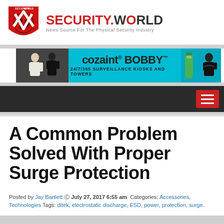[Figure (logo): Security.World logo with red shield/triangle icon and bold text SECURITY.WORLD with tagline 'News Source For The Physical Security Industry']
[Figure (infographic): Cozaint Bobby advertisement banner - cyan background with text 'cozaint BOBBY 24/7/365 SURVEILLANCE KIOSKS AND TOWERS', showing security kiosk product and people]
[Figure (infographic): Dark navigation bar with red hamburger menu button on right side]
A Common Problem Solved With Proper Surge Protection
Posted by Jay Bartlett  July 27, 2017 6:55 am  Categories: Accessories, Technologies Tags: ditek, electrostatic discharge, ESD, power, protection, surge.